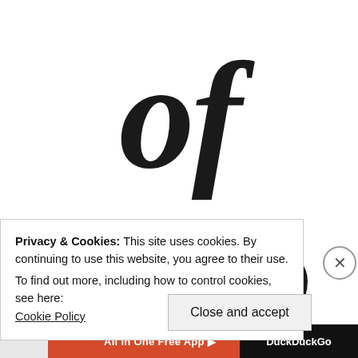of
Octo
Privacy & Cookies: This site uses cookies. By continuing to use this website, you agree to their use.
To find out more, including how to control cookies, see here:
Cookie Policy
Close and accept
All in One Free App
DuckDuckGo